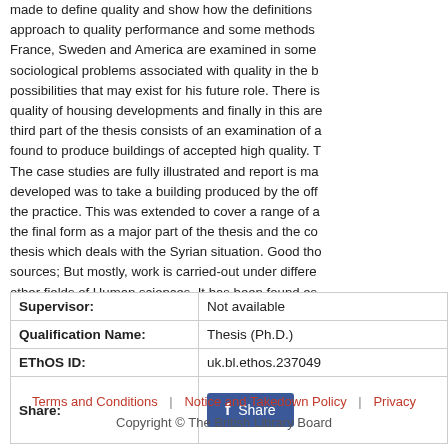made to define quality and show how the definitions approach to quality performance and some methods France, Sweden and America are examined in some sociological problems associated with quality in the b possibilities that may exist for his future role. There is quality of housing developments and finally in this are third part of the thesis consists of an examination of found to produce buildings of accepted high quality. T The case studies are fully illustrated and report is ma developed was to take a building produced by the off the practice. This was extended to cover a range of a the final form as a major part of the thesis and the co thesis which deals with the Syrian situation. Good tho sources; But mostly, work is carried-out under differe other fields of Human sciences. It has been found es are listed at the end of each chapter in which they ar
|  |  |
| --- | --- |
| Supervisor: | Not available |
| Qualification Name: | Thesis (Ph.D.) |
| EThOS ID: | uk.bl.ethos.237049 |
| Share: | Share |
Terms and Conditions | Notice and Takedown Policy | Privacy
Copyright © The British Library Board